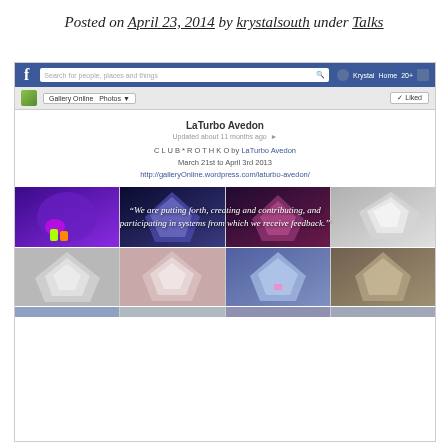Posted on April 23, 2014 by krystalsouth under Talks
[Figure (screenshot): Screenshot of a Facebook page for 'Gallery Online' showing LaTurbo Avedon's photos album. The page shows a nav bar, gallery header with 'Liked' button, artist name 'LaTurbo Avedon', description text about CLUB*ROTHKO exhibition March 21st to April 3rd 2013, and two rows of 4 images each showing metallic/crystalline 3D art objects on various colored backgrounds. Text overlay reads: 'We are putting forth, creating and contributing, and participating in systems from which we receive feedback.']